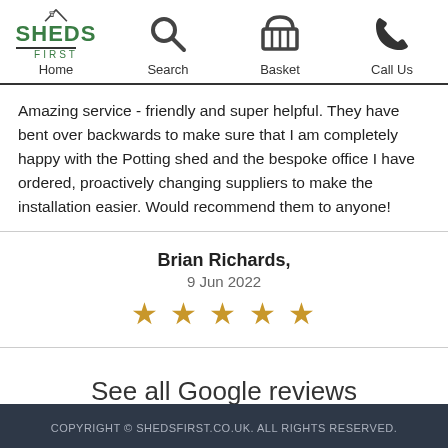[Figure (logo): Sheds First logo with house/roof icon above text SHEDS FIRST]
Home   Search   Basket   Call Us
Amazing service - friendly and super helpful. They have bent over backwards to make sure that I am completely happy with the Potting shed and the bespoke office I have ordered, proactively changing suppliers to make the installation easier. Would recommend them to anyone!
Brian Richards, 9 Jun 2022 ★★★★★
See all Google reviews
COPYRIGHT © SHEDSFIRST.CO.UK. ALL RIGHTS RESERVED.